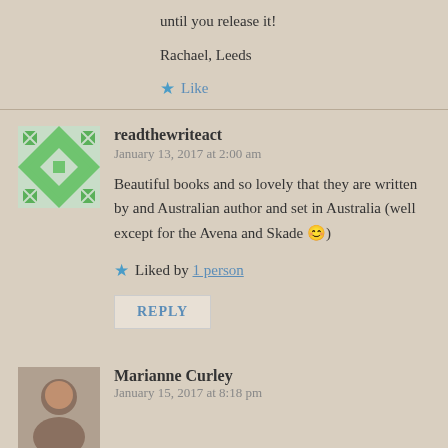until you release it!
Rachael, Leeds
★ Like
readthewriteact
January 13, 2017 at 2:00 am
Beautiful books and so lovely that they are written by and Australian author and set in Australia (well except for the Avena and Skade 😊)
★ Liked by 1 person
REPLY
Marianne Curley
January 15, 2017 at 8:18 pm